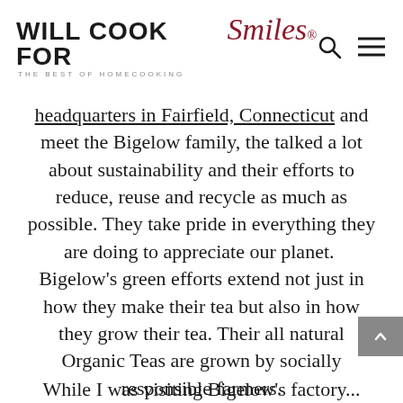WILL COOK FOR Smiles® — THE BEST OF HOMECOOKING
headquarters in Fairfield, Connecticut and meet the Bigelow family, the talked a lot about sustainability and their efforts to reduce, reuse and recycle as much as possible. They take pride in everything they are doing to appreciate our planet.  Bigelow's green efforts extend not just in how they make their tea but also in how they grow their tea. Their all natural Organic Teas are grown by socially responsible farmers.
While I was visiting Bigelow's factory...